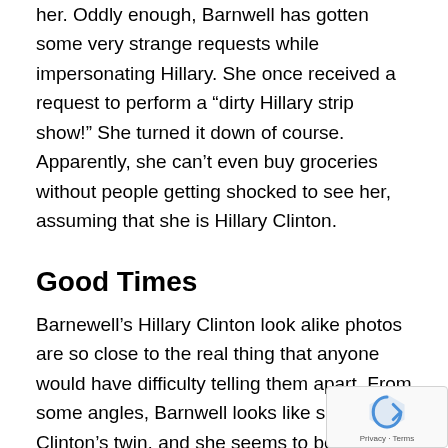her. Oddly enough, Barnwell has gotten some very strange requests while impersonating Hillary. She once received a request to perform a “dirty Hillary strip show!” She turned it down of course. Apparently, she can’t even buy groceries without people getting shocked to see her, assuming that she is Hillary Clinton.
Good Times
Barnewell’s Hillary Clinton look alike photos are so close to the real thing that anyone would have difficulty telling them apart. From some angles, Barnwell looks like she is Clinton’s twin, and she seems to be quite okay with it right now, especially